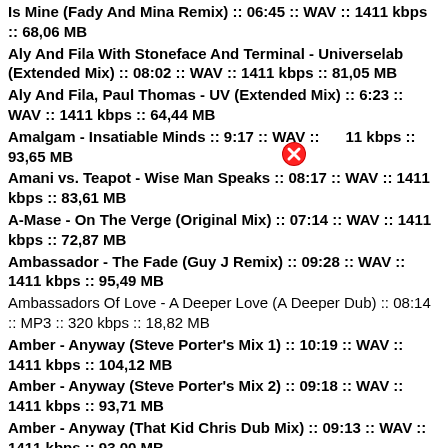Is Mine (Fady And Mina Remix) :: 06:45 :: WAV :: 1411 kbps :: 68,06 MB
Aly And Fila With Stoneface And Terminal - Universelab (Extended Mix) :: 08:02 :: WAV :: 1411 kbps :: 81,05 MB
Aly And Fila, Paul Thomas - UV (Extended Mix) :: 6:23 :: WAV :: 1411 kbps :: 64,44 MB
Amalgam - Insatiable Minds :: 9:17 :: WAV :: 1411 kbps :: 93,65 MB
Amani vs. Teapot - Wise Man Speaks :: 08:17 :: WAV :: 1411 kbps :: 83,61 MB
A-Mase - On The Verge (Original Mix) :: 07:14 :: WAV :: 1411 kbps :: 72,87 MB
Ambassador - The Fade (Guy J Remix) :: 09:28 :: WAV :: 1411 kbps :: 95,49 MB
Ambassadors Of Love - A Deeper Love (A Deeper Dub) :: 08:14 :: MP3 :: 320 kbps :: 18,82 MB
Amber - Anyway (Steve Porter's Mix 1) :: 10:19 :: WAV :: 1411 kbps :: 104,12 MB
Amber - Anyway (Steve Porter's Mix 2) :: 09:18 :: WAV :: 1411 kbps :: 93,71 MB
Amber - Anyway (That Kid Chris Dub Mix) :: 09:13 :: WAV :: 1411 kbps :: 93,00 MB
Ambrozia - On The Beach (Claes Rosen Instrumental Mix) :: 05:04 :: WAV :: 1411 kbps :: 51,09 MB